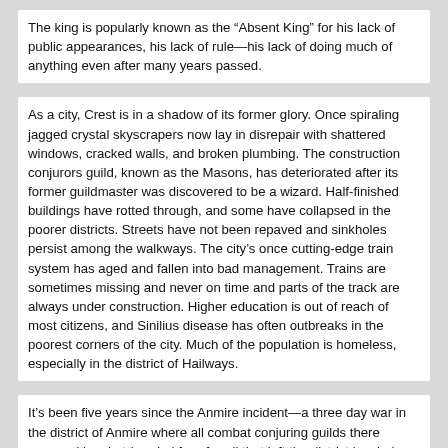The king is popularly known as the “Absent King” for his lack of public appearances, his lack of rule—his lack of doing much of anything even after many years passed.
As a city, Crest is in a shadow of its former glory. Once spiraling jagged crystal skyscrapers now lay in disrepair with shattered windows, cracked walls, and broken plumbing. The construction conjurors guild, known as the Masons, has deteriorated after its former guildmaster was discovered to be a wizard. Half-finished buildings have rotted through, and some have collapsed in the poorer districts. Streets have not been repaved and sinkholes persist among the walkways. The city’s once cutting-edge train system has aged and fallen into bad management. Trains are sometimes missing and never on time and parts of the track are always under construction. Higher education is out of reach of most citizens, and Sinilius disease has often outbreaks in the poorest corners of the city. Much of the population is homeless, especially in the district of Hailways.
It’s been five years since the Anmire incident—a three day war in the district of Anmire where all combat conjuring guilds there engaged in a hot-headed free-for-all that left the district leveled and an estimated thirty thousand people dead. The royal government has done nothing to bring order to the civil unrest left after the Anmire incident. It is now taboo to be a combat conjuror where it was previously seen as a highly regarded and artistic form of martial arts.